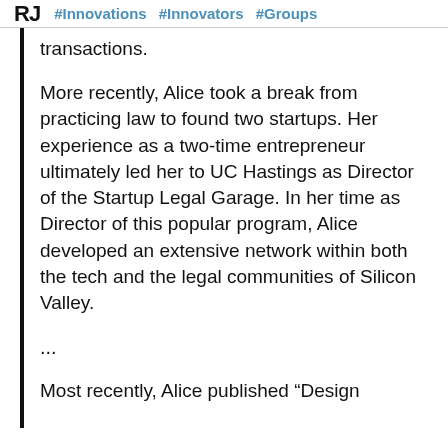RJ #Innovations #Innovators #Groups
transactions.
More recently, Alice took a break from practicing law to found two startups. Her experience as a two-time entrepreneur ultimately led her to UC Hastings as Director of the Startup Legal Garage. In her time as Director of this popular program, Alice developed an extensive network within both the tech and the legal communities of Silicon Valley.
...
Most recently, Alice published “Design